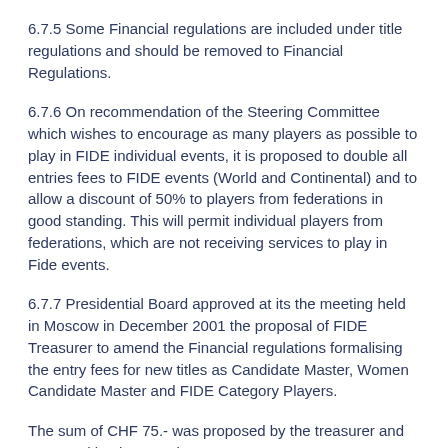6.7.5 Some Financial regulations are included under title regulations and should be removed to Financial Regulations.
6.7.6 On recommendation of the Steering Committee which wishes to encourage as many players as possible to play in FIDE individual events, it is proposed to double all entries fees to FIDE events (World and Continental) and to allow a discount of 50% to players from federations in good standing. This will permit individual players from federations, which are not receiving services to play in Fide events.
6.7.7 Presidential Board approved at its the meeting held in Moscow in December 2001 the proposal of FIDE Treasurer to amend the Financial regulations formalising the entry fees for new titles as Candidate Master, Women Candidate Master and FIDE Category Players.
The sum of CHF 75.- was proposed by the treasurer and approved by the Board.
6.8. New World Championship Regulations.